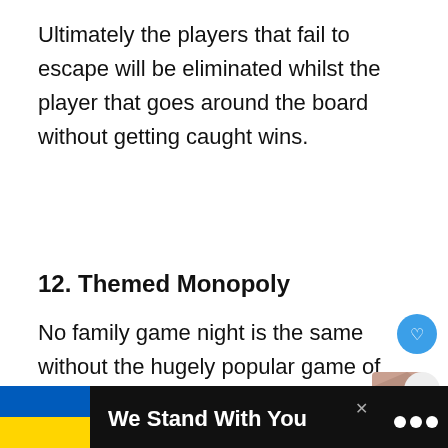Ultimately the players that fail to escape will be eliminated whilst the player that goes around the board without getting caught wins.
12. Themed Monopoly
No family game night is the same without the hugely popular game of Monopoly! Instead of dusting o traditional board, why not try out some o
[Figure (screenshot): UI overlay with heart/favorite button (blue circle), share button, a shoe image, and a 'What's Next' panel showing '42 Best Family Reunion Ide...']
[Figure (infographic): Bottom advertisement banner: Ukrainian flag colors (blue and yellow), bold white text 'We Stand With You', close X button, CNN logo dots on dark background]